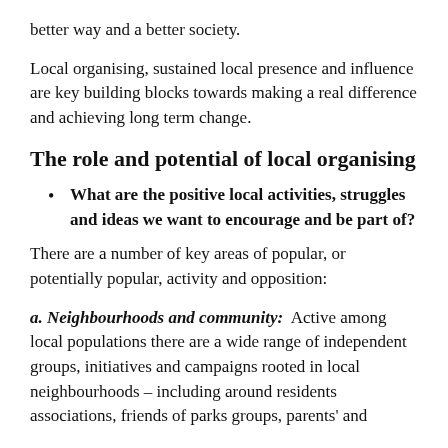better way and a better society.
Local organising, sustained local presence and influence are key building blocks towards making a real difference and achieving long term change.
The role and potential of local organising
What are the positive local activities, struggles and ideas we want to encourage and be part of?
There are a number of key areas of popular, or potentially popular, activity and opposition:
a. Neighbourhoods and community:  Active among local populations there are a wide range of independent groups, initiatives and campaigns rooted in local neighbourhoods – including around residents associations, friends of parks groups, parents' and